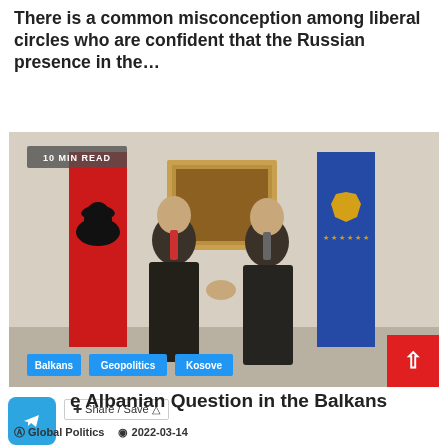There is a common misconception among liberal circles who are confident that the Russian presence in the…
CONTINUE READING
[Figure (photo): Two men in dark suits shaking hands indoors, with the Albanian flag (red with black eagle) on the left and the Kosovo flag (blue with gold map and stars) on the right, and a framed painting on the wall behind them. Badge reads '10 MIN READ'. Tags: Balkans, Geopolitics, Kosove.]
e Albanian Question in the Balkans
Global Politics   2022-03-14